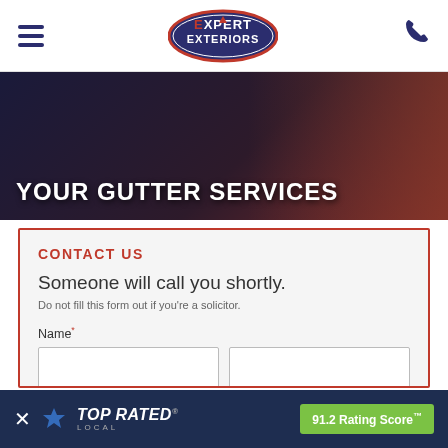Expert Exteriors — navigation header with hamburger menu and phone icon
[Figure (screenshot): Hero banner with dark gradient background and worker image, text: YOUR GUTTER SERVICES]
CONTACT US
Someone will call you shortly.
Do not fill this form out if you're a solicitor.
Name* — First / Last input fields
Email — input field
[Figure (logo): Top Rated Local badge with 91.2 Rating Score™]